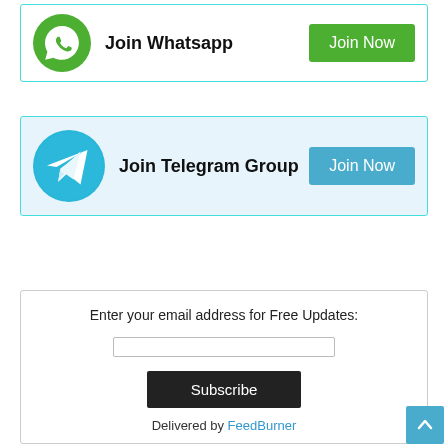[Figure (other): WhatsApp join box with green logo, bold text 'Join Whatsapp', and green 'Join Now' button]
[Figure (other): Telegram join box with blue logo, bold text 'Join Telegram Group', and blue 'Join Now' button]
Enter your email address for Free Updates:
[Figure (other): Email input box]
Subscribe
Delivered by FeedBurner